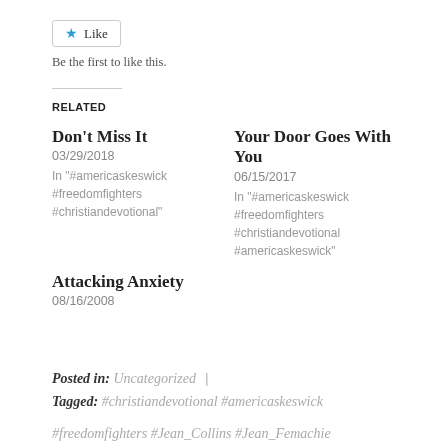[Figure (other): Like button widget with star icon]
Be the first to like this.
RELATED
Don't Miss It
03/29/2018
In "#americaskeswick #freedomfighters #christiandevotional"
Your Door Goes With You
06/15/2017
In "#americaskeswick #freedomfighters #christiandevotional #americaskeswick"
Attacking Anxiety
08/16/2008
Posted in: Uncategorized  |
Tagged: #christiandevotional #americaskeswick
#freedomfighters #Jean_Collins #Jean_Femachie